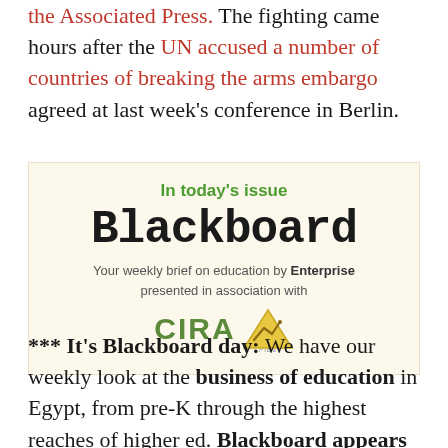the Associated Press. The fighting came hours after the UN accused a number of countries of breaking the arms embargo agreed at last week's conference in Berlin.
[Figure (infographic): Promotional box for 'Blackboard' newsletter. Shows 'In today's issue' in green, 'Blackboard' in large bold font, 'Your weekly brief on education by Enterprise presented in association with', and CIRA logo with mountain/chart icon.]
*** It's Blackboard day: We have our weekly look at the business of education in Egypt, from pre-K through the highest reaches of higher ed. Blackboard appears every Monday in Enterprise